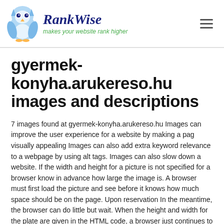RankWise — makes your website rank higher
gyermek-konyha.arukereso.hu images and descriptions
7 images found at gyermek-konyha.arukereso.hu Images can improve the user experience for a website by making a pag visually appealing Images can also add extra keyword relevance to a webpage by using alt tags. Images can also slow down a website. If the width and height for a picture is not specified for a browser know in advance how large the image is. A browser must first load the picture and see before it knows how much space should be on the page. Upon reservation In the meantime, the browser can do little but wait. When the height and width for the plate are given in the HTML code, a browser just continues to build for a page while the images load in the background